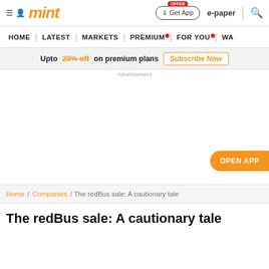mint — Get App | e-paper | search
HOME | LATEST | MARKETS | PREMIUM | FOR YOU | WA
Upto 20% off on premium plans  Subscribe Now
Advertisement
OPEN APP
Home / Companies / The redBus sale: A cautionary tale
The redBus sale: A cautionary tale